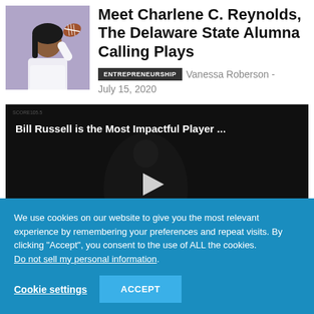[Figure (photo): Woman in white suit holding a football, with a blue-purple background]
Meet Charlene C. Reynolds, The Delaware State Alumna Calling Plays
ENTREPRENEURSHIP   Vanessa Roberson - July 15, 2020
[Figure (screenshot): Dark video thumbnail with text overlay: 'Bill Russell is the Most Impactful Player ...' and a play button]
We use cookies on our website to give you the most relevant experience by remembering your preferences and repeat visits. By clicking "Accept", you consent to the use of ALL the cookies. Do not sell my personal information.
Cookie settings    ACCEPT